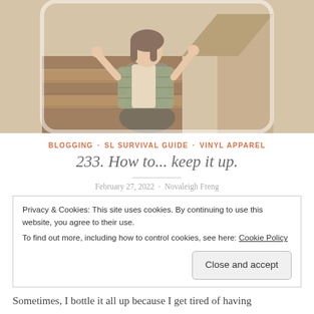[Figure (illustration): Digital illustration of a woman in a plaid shirt and leggings sitting on wooden stairs, with hands raised, against a beige wall background.]
BLOGGING · SL SURVIVAL GUIDE · VINYL APPAREL
233. How to... keep it up.
February 27, 2022 · Novaleigh Freng
Privacy & Cookies: This site uses cookies. By continuing to use this website, you agree to their use.
To find out more, including how to control cookies, see here: Cookie Policy
Close and accept
Sometimes, I bottle it all up because I get tired of having